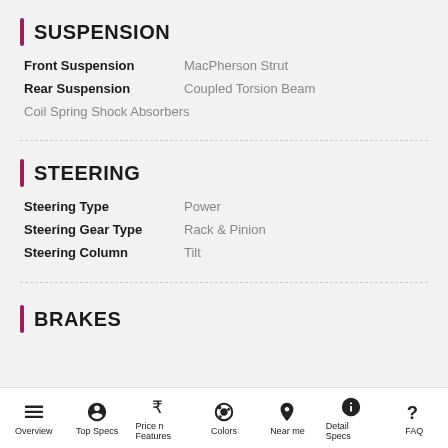SUSPENSION
| Spec | Value |
| --- | --- |
| Front Suspension | MacPherson Strut |
| Rear Suspension | Coupled Torsion Beam |
| Coil Spring Shock Absorbers |  |
STEERING
| Spec | Value |
| --- | --- |
| Steering Type | Power |
| Steering Gear Type | Rack & Pinion |
| Steering Column | Tilt |
BRAKES
Overview  Top Specs  Price n Features  Colors  Near me  Detail Specs  FAQ